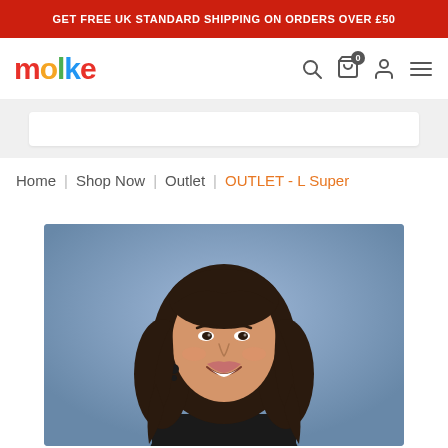GET FREE UK STANDARD SHIPPING ON ORDERS OVER £50
[Figure (logo): Molke brand logo in multicolor letters: m(red), o(orange), l(green), k(blue), e(red)]
Home | Shop Now | Outlet | OUTLET - L Super
[Figure (photo): Young woman with long dark hair smiling, wearing a black top, photographed against a blue/purple background. Product image for OUTLET - L Super.]